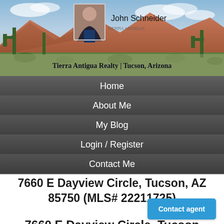[Figure (photo): Desert landscape banner with saguaro cacti, red mountains, and blue sky. Agent photo of John Schneider in suit with tie. Company name overlay.]
John Schneider
Tierra Antigua Realty | Tucson, Arizona
Home
About Me
My Blog
Login / Register
Contact Me
7660 E Dayview Circle, Tucson, AZ 85750 (MLS# 22211725)
Contact agent
7660 E Dayview Circle, Tucson